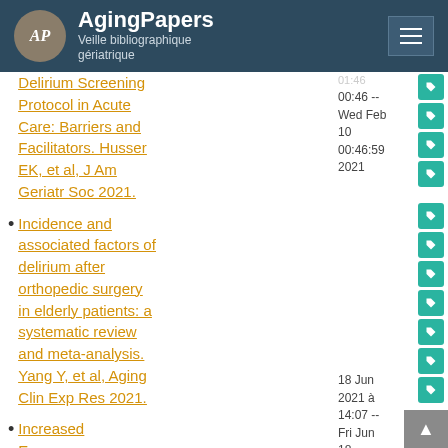AgingPapers — Veille bibliographique gériatrique
Delirium Screening Protocol in Acute Care: Barriers and Facilitators. Husser EK, et al, J Am Geriatr Soc 2021.
Incidence and associated factors of delirium after orthopedic surgery in elderly patients: a systematic review and meta-analysis. Yang Y, et al, Aging Clin Exp Res 2021.
Increased Emergency